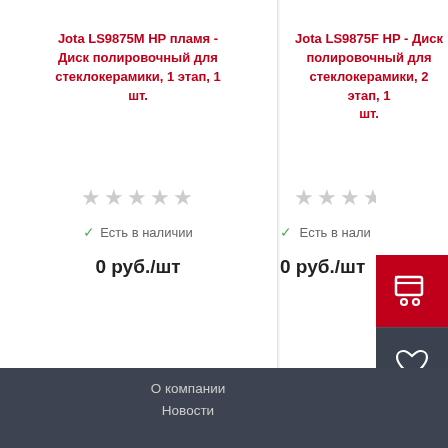Jota LS9875M HP пламя - Диск полировочный для стеклокерамики, 1 этап, 1 шт.
Jota LS9875F HP - Диск полировочный для стеклокерамики, 2 этап, 1 шт.
Есть в наличии
0 руб./шт
Есть в нали...
0 руб./ш...
Вернуться
О компании
Новости